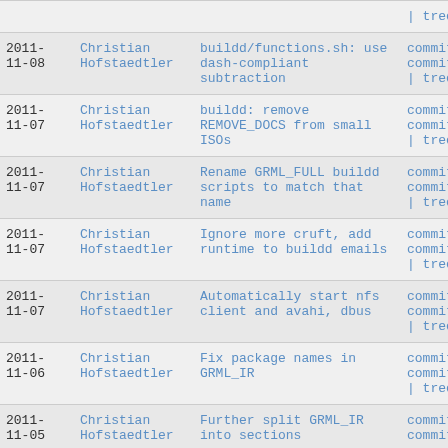| Date | Author | Commit message | Links |
| --- | --- | --- | --- |
|  |  |  | | tree |
| 2011-
11-08 | Christian Hofstaedtler | buildd/functions.sh: use dash-compliant subtraction | commit | commitdiff | tree |
| 2011-
11-07 | Christian Hofstaedtler | buildd: remove REMOVE_DOCS from small ISOs | commit | commitdiff | tree |
| 2011-
11-07 | Christian Hofstaedtler | Rename GRML_FULL buildd scripts to match that name | commit | commitdiff | tree |
| 2011-
11-07 | Christian Hofstaedtler | Ignore more cruft, add runtime to buildd emails | commit | commitdiff | tree |
| 2011-
11-07 | Christian Hofstaedtler | Automatically start nfs client and avahi, dbus | commit | commitdiff | tree |
| 2011-
11-06 | Christian Hofstaedtler | Fix package names in GRML_IR | commit | commitdiff | tree |
| 2011-
11-05 | Christian Hofstaedtler | Further split GRML_IR into sections | commit | commitdiff |